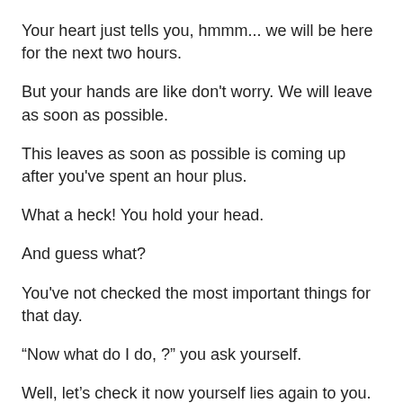Your heart just tells you, hmmm... we will be here for the next two hours.
But your hands are like don't worry. We will leave as soon as possible.
This leaves as soon as possible is coming up after you've spent an hour plus.
What a heck! You hold your head.
And guess what?
You've not checked the most important things for that day.
“Now what do I do, ?” you ask yourself.
Well, let’s check it now yourself lies again to you.